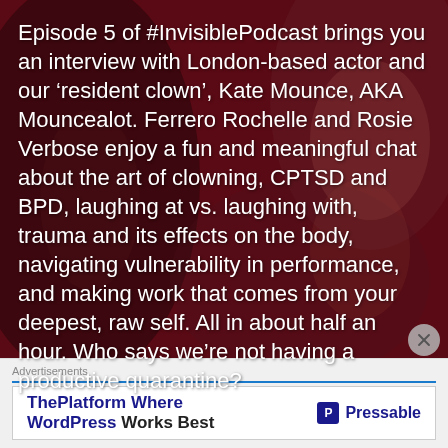[Figure (photo): Dark red/maroon background with blurred figures of people, serving as a backdrop for the podcast episode text overlay.]
Episode 5 of #InvisiblePodcast brings you an interview with London-based actor and our ‘resident clown’, Kate Mounce, AKA Mouncealot. Ferrero Rochelle and Rosie Verbose enjoy a fun and meaningful chat about the art of clowning, CPTSD and BPD, laughing at vs. laughing with, trauma and its effects on the body, navigating vulnerability in performance, and making work that comes from your deepest, raw self. All in about half an hour. Who says we’re not having a productive quarantine?
Advertisements
[Figure (screenshot): Advertisement for Pressable: 'ThePlatform Where WordPress Works Best' with Pressable logo on the right.]